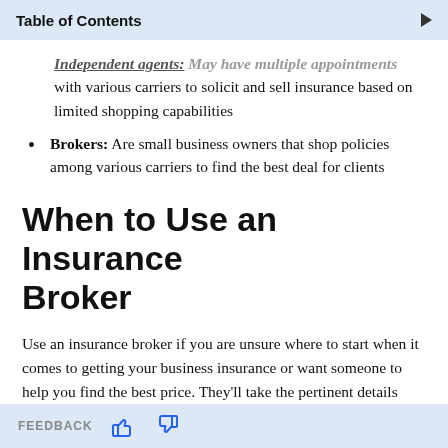Table of Contents
Independent agents: May have multiple appointments with various carriers to solicit and sell insurance based on limited shopping capabilities
Brokers: Are small business owners that shop policies among various carriers to find the best deal for clients
When to Use an Insurance Broker
Use an insurance broker if you are unsure where to start when it comes to getting your business insurance or want someone to help you find the best price. They'll take the pertinent details about your business to help you identify your exact needs. Then, they'll fulfill those needs by getting quotes from multiple
FEEDBACK